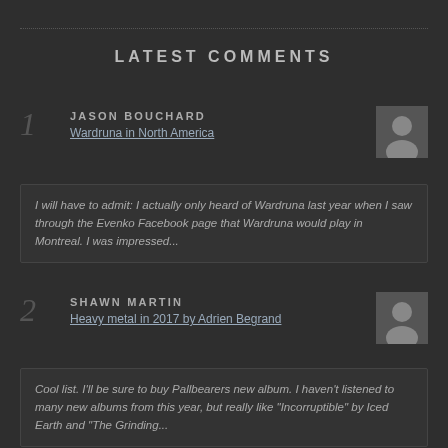LATEST COMMENTS
1 JASON BOUCHARD
Wardruna in North America
I will have to admit: I actually only heard of Wardruna last year when I saw through the Evenko Facebook page that Wardruna would play in Montreal. I was impressed...
2 SHAWN MARTIN
Heavy metal in 2017 by Adrien Begrand
Cool list. I'll be sure to buy Pallbearers new album. I haven't listened to many new albums from this year, but really like "Incorruptible" by Iced Earth and "The Grinding...